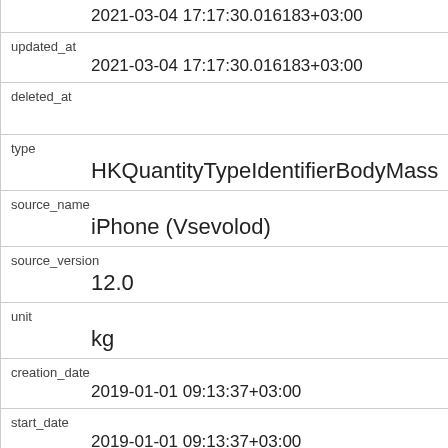| Field | Value |
| --- | --- |
| (top truncated) | 2021-03-04 17:17:30.016183+03:00 |
| updated_at | 2021-03-04 17:17:30.016183+03:00 |
| deleted_at |  |
| type | HKQuantityTypeIdentifierBodyMass |
| source_name | iPhone (Vsevolod) |
| source_version | 12.0 |
| unit | kg |
| creation_date | 2019-01-01 09:13:37+03:00 |
| start_date | 2019-01-01 09:13:37+03:00 |
| end_date | 2019-01-01 09:13:37+03:00 |
| value | 65 |